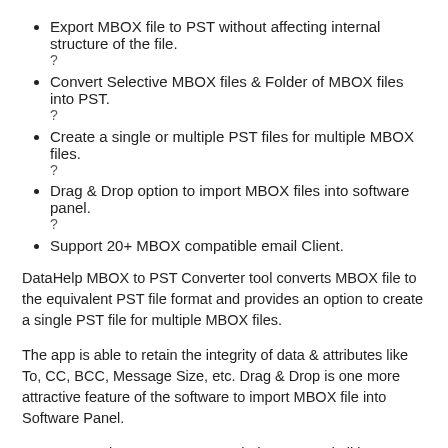Export MBOX file to PST without affecting internal structure of the file.
?
Convert Selective MBOX files & Folder of MBOX files into PST.
?
Create a single or multiple PST files for multiple MBOX files.
?
Drag & Drop option to import MBOX files into software panel.
?
Support 20+ MBOX compatible email Client.
DataHelp MBOX to PST Converter tool converts MBOX file to the equivalent PST file format and provides an option to create a single PST file for multiple MBOX files.
The app is able to retain the integrity of data & attributes like To, CC, BCC, Message Size, etc. Drag & Drop is one more attractive feature of the software to import MBOX file into Software Panel.
System Requirements: Support Windows 10 and all lower versions of Windows. 1 Ghz processor, 512 MB RAM. Require 50 GB free space in